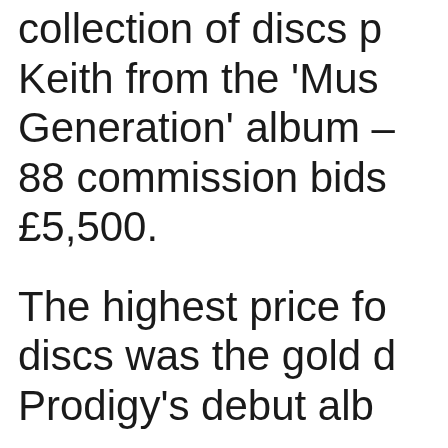collection of discs p… Keith from the 'Mus… Generation' album – 88 commission bids… £5,500.
The highest price fo… discs was the gold d… Prodigy's debut alb…